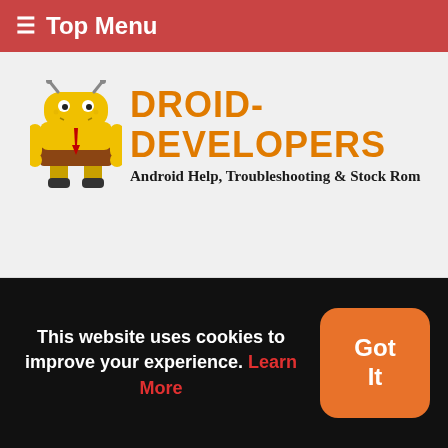≡ Top Menu
[Figure (logo): Droid-Developers logo: cartoon Android robot character dressed as SpongeBob, with orange text 'DROID-DEVELOPERS' and subtitle 'Android Help, Troubleshooting & Stock Rom']
This website uses cookies to improve your experience. Learn More
Got It